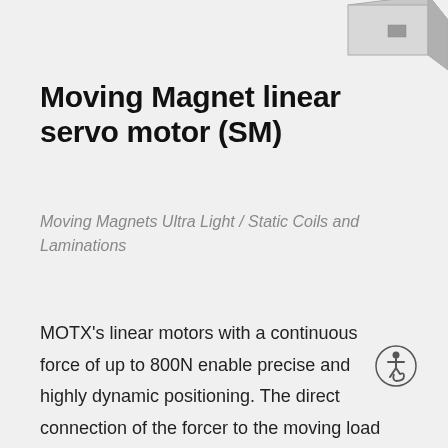[Figure (photo): Partial view of a linear servo motor product (Moving Magnet type, SM series) shown in the top-right corner of the page.]
Moving Magnet linear servo motor (SM)
Moving Magnets Ultra Light / Static Coils and Laminations
MOTX’s linear motors with a continuous force of up to 800N enable precise and highly dynamic positioning. The direct connection of the forcer to the moving load eliminates transmission